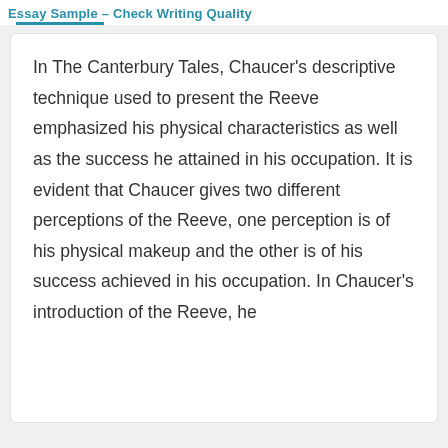Essay Sample – Check Writing Quality
In The Canterbury Tales, Chaucer's descriptive technique used to present the Reeve emphasized his physical characteristics as well as the success he attained in his occupation. It is evident that Chaucer gives two different perceptions of the Reeve, one perception is of his physical makeup and the other is of his success achieved in his occupation. In Chaucer's introduction of the Reeve, he